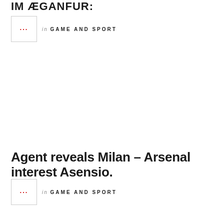...
in GAME AND SPORT
Agent reveals Milan – Arsenal interest Asensio.
in GAME AND SPORT